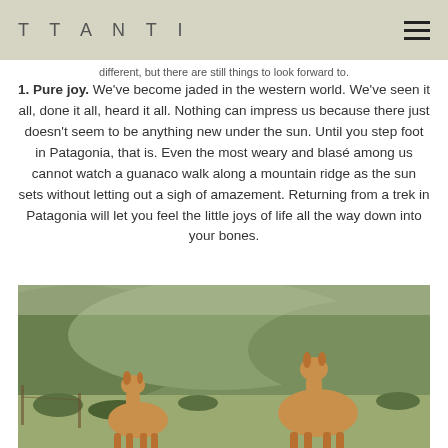TTANTI
different, but there are still things to look forward to.
1. Pure joy. We've become jaded in the western world. We've seen it all, done it all, heard it all. Nothing can impress us because there just doesn't seem to be anything new under the sun. Until you step foot in Patagonia, that is. Even the most weary and blasé among us cannot watch a guanaco walk along a mountain ridge as the sun sets without letting out a sigh of amazement. Returning from a trek in Patagonia will let you feel the little joys of life all the way down into your bones.
[Figure (photo): Two guanacos (llama-like animals) standing in a hilly green landscape in Patagonia.]